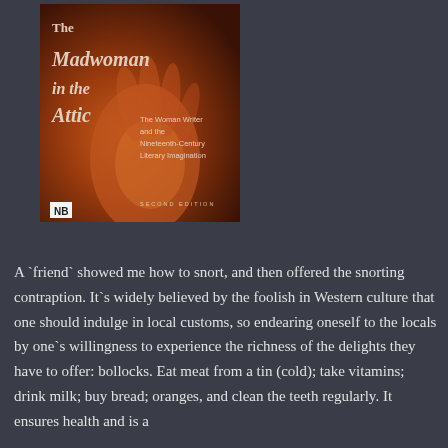[Figure (photo): Book cover of 'The Madwoman in the Attic: The Woman Writer and the Nineteenth-Century Literary Imagination, Second Edition' — dark red/orange background with an image of an outstretched hand, NB publisher logo in bottom left corner.]
A `friend` showed me how to snort, and then offered the snorting contraption. It`s widely believed by the foolish in Western culture that one should indulge in local customs, so endearing oneself to the locals by one`s willingness to experience the richness of the delights they have to offer: bollocks. Eat meat from a tin (cold); take vitamins; drink milk; buy bread; oranges, and clean the teeth regularly. It ensures health and is a